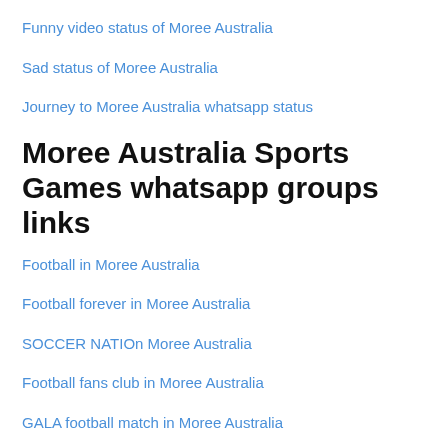Funny video status of Moree Australia
Sad status of Moree Australia
Journey to Moree Australia whatsapp status
Moree Australia Sports Games whatsapp groups links
Football in Moree Australia
Football forever in Moree Australia
SOCCER NATIOn Moree Australia
Football fans club in Moree Australia
GALA football match in Moree Australia
Football match Moree Australia